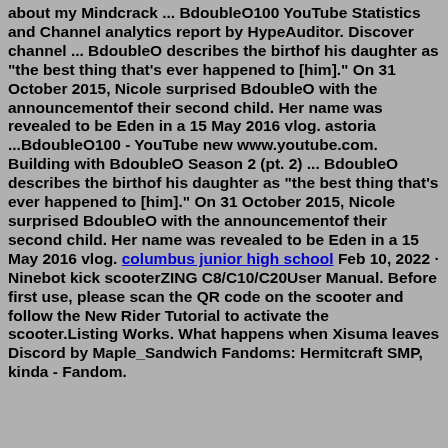about my Mindcrack ... BdoubleO100 YouTube Statistics and Channel analytics report by HypeAuditor. Discover channel ... BdoubleO describes the birthof his daughter as "the best thing that's ever happened to [him]." On 31 October 2015, Nicole surprised BdoubleO with the announcementof their second child. Her name was revealed to be Eden in a 15 May 2016 vlog. astoria ...BdoubleO100 - YouTube new www.youtube.com. Building with BdoubleO Season 2 (pt. 2) ... BdoubleO describes the birthof his daughter as "the best thing that's ever happened to [him]." On 31 October 2015, Nicole surprised BdoubleO with the announcementof their second child. Her name was revealed to be Eden in a 15 May 2016 vlog. columbus junior high school Feb 10, 2022 · Ninebot kick scooterZING C8/C10/C20User Manual. Before first use, please scan the QR code on the scooter and follow the New Rider Tutorial to activate the scooter.Listing Works. What happens when Xisuma leaves Discord by Maple_Sandwich Fandoms: Hermitcraft SMP, kinda - Fandom.